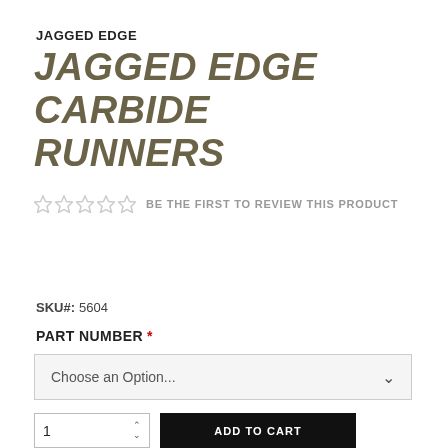JAGGED EDGE
JAGGED EDGE CARBIDE RUNNERS
☆☆☆☆☆  BE THE FIRST TO REVIEW THIS PRODUCT
SKU#: 5604
PART NUMBER *
Choose an Option...
1  ADD TO CART